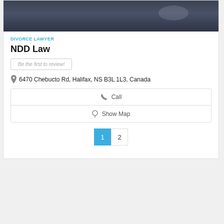[Figure (photo): Close-up photo of a person in a dark suit holding something, dark background]
DIVORCE LAWYER
NDD Law
Be the first to review!
6470 Chebucto Rd, Halifax, NS B3L 1L3, Canada
Call
Show Map
1  2